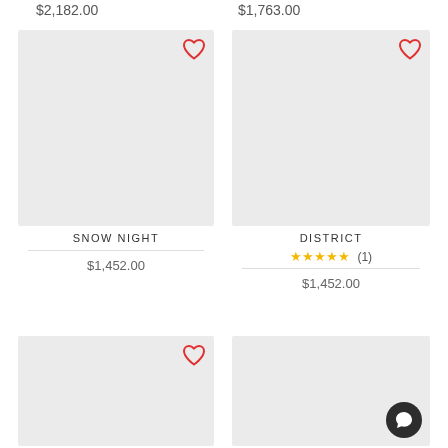$2,182.00
$1,763.00
[Figure (photo): Gray placeholder product image with red heart icon (SNOW NIGHT)]
SNOW NIGHT
$1,452.00
[Figure (photo): Gray placeholder product image with red heart icon (DISTRICT)]
DISTRICT
★★★★★ (1)
$1,452.00
[Figure (photo): Gray placeholder product image with red heart icon (bottom left)]
[Figure (photo): Gray placeholder product image with chat button (bottom right)]